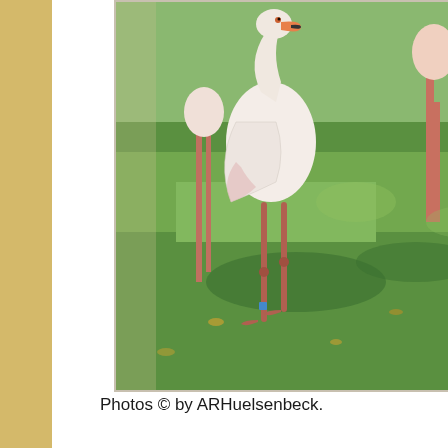[Figure (photo): Photograph of flamingos standing on grass. One large white/pink flamingo is prominent in the center-left, with other flamingos visible in the background. The scene is outdoors on green grass in bright sunlight.]
Photos © by ARHuelsenbeck.